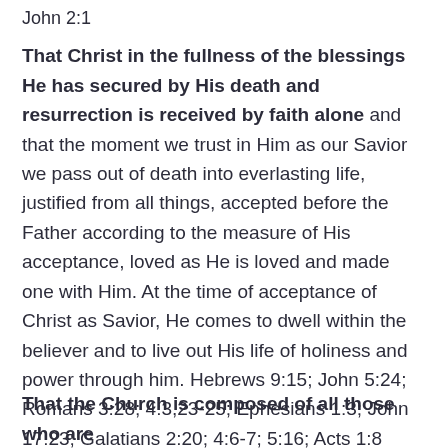John 2:1
That Christ in the fullness of the blessings He has secured by His death and resurrection is received by faith alone and that the moment we trust in Him as our Savior we pass out of death into everlasting life, justified from all things, accepted before the Father according to the measure of His acceptance, loved as He is loved and made one with Him. At the time of acceptance of Christ as Savior, He comes to dwell within the believer and to live out His life of holiness and power through him. Hebrews 9:15; John 5:24; Romans 3:28; 4:3,23-25; Ephesians 1:3; John 17:23; Galatians 2:20; 4:6-7; 5:16; Acts 1:8
That the Church is composed of all those who are…